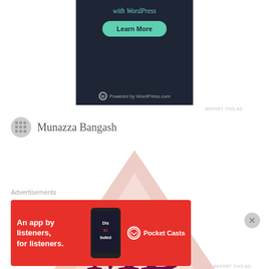[Figure (screenshot): WordPress advertisement banner with dark background showing 'with WordPress' text, a green 'Learn More' button, and 'Powered by WordPress.com' footer]
REPORT THIS AD
Munazza Bangash
[Figure (logo): Munazza Bangash logo: pink/rose triangle shape with dark red cursive 'MB' monogram letters]
Advertisements
[Figure (screenshot): Pocket Casts advertisement: red banner with text 'An app by listeners, for listeners.' with phone image and Pocket Casts logo]